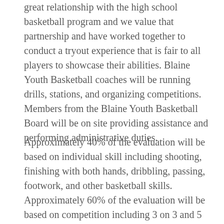great relationship with the high school basketball program and we value that partnership and have worked together to conduct a tryout experience that is fair to all players to showcase their abilities. Blaine Youth Basketball coaches will be running drills, stations, and organizing competitions. Members from the Blaine Youth Basketball Board will be on site providing assistance and performing administrative duties.
Approximately 40% of the evaluation will be based on individual skill including shooting, finishing with both hands, dribbling, passing, footwork, and other basketball skills. Approximately 60% of the evaluation will be based on competition including 3 on 3 and 5 on 5. Within the competition, evaluators will be looking for how players translate their individual skills to live scenarios and other important skills like teamwork, communication, coachability and focus abilities and in the floor athletics.